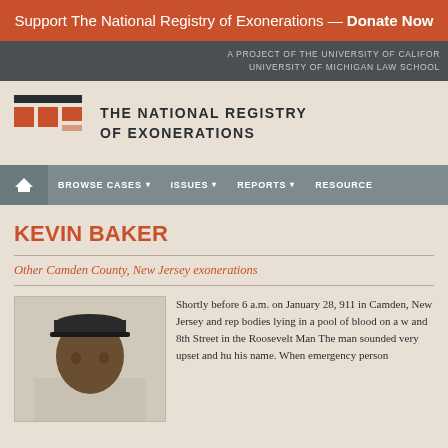Support The National Registry of Exonerations — Donate Now
A PROJECT OF THE UNIVERSITY OF CALIFORNIA IRVINE SCHOOL OF LAW AND THE UNIVERSITY OF MICHIGAN LAW SCHOOL
[Figure (logo): The National Registry of Exonerations logo with orange square grid icon and organization name]
BROWSE CASES  ISSUES  REPORTS  RESOURCES
KEVIN BAKER
Other Camden County, New Jersey exonerations
[Figure (photo): Portrait photo of Kevin Baker, an African American man wearing a cap, photographed against a white background]
Shortly before 6 a.m. on January 28, someone called 911 in Camden, New Jersey and reported two bodies lying in a pool of blood on a w... and 8th Street in the Roosevelt Man... The man sounded very upset and hu... his name. When emergency person...